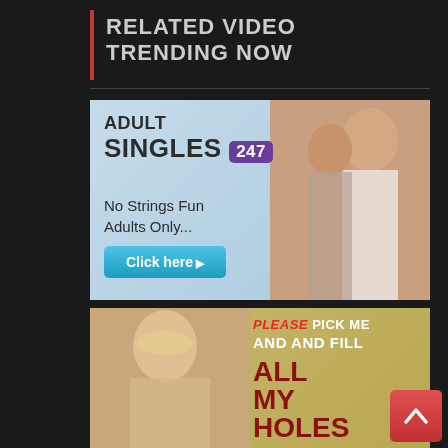RELATED VIDEO TRENDING NOW
[Figure (advertisement): Adult Singles 247 dating advertisement with couple image. Text: ADULT SINGLES 247, No Strings Fun Adults Only..., Click here button.]
[Figure (advertisement): Adult content advertisement. Text: PLEASE PICK ME AND AND FILL ALL MY HOLES. Features blonde woman image.]